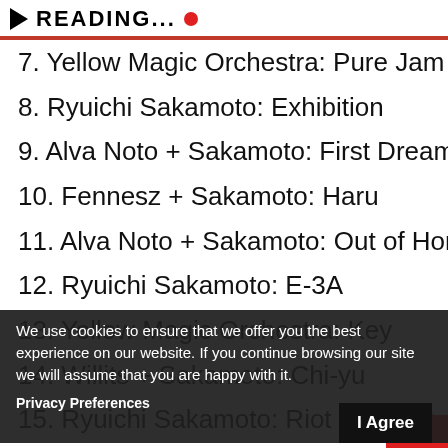▶ READING... ●
7. Yellow Magic Orchestra: Pure Jam
8. Ryuichi Sakamoto: Exhibition
9. Alva Noto + Sakamoto: First Dream
10. Fennesz + Sakamoto: Haru
11. Alva Noto + Sakamoto: Out of Horse
12. Ryuichi Sakamoto: E-3A
13. Yellow Magic Orchestra: Key
14. Willits + Sakamoto: Chi-yu
15. Ryuichi Sakamoto: Riot in Lagos
16. Yellow Magic Orchestra: Expecting Rivers
17. Yellow Magic Orchestra: Daytripper
18. Alva Noto + Sakamoto: Cat & Mouse
19. Fennesz + Sakamoto: Mono
20. Alva Noto + Sakamoto: Logic Moon
We use cookies to ensure that we offer you the best experience on our website. If you continue browsing our site we will assume that you are happy with it.
Privacy Preferences
I Agree